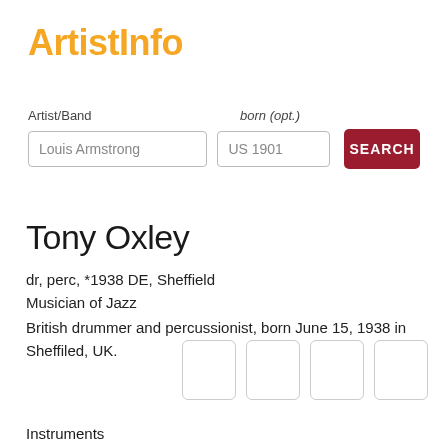ArtistInfo
Artist/Band    born (opt.)
Louis Armstrong   US 1901   SEARCH
Tony Oxley
dr, perc, *1938 DE, Sheffield
Musician of Jazz
British drummer and percussionist, born June 15, 1938 in Sheffiled, UK.
[Figure (other): Four small thumbnail image boxes]
Instruments